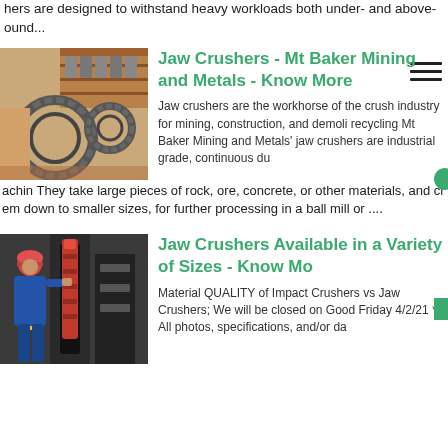hers are designed to withstand heavy workloads both under- and above-ound...
[Figure (photo): Industrial metal parts and chain rings, machinery components]
Jaw Crushers - Mt Baker Mining and Metals - Know More
Jaw crushers are the workhorse of the crush industry for mining, construction, and demoli recycling Mt Baker Mining and Metals' jaw crushers are industrial grade, continuous du
achin They take large pieces of rock, ore, concrete, or other materials, and cr em down to smaller sizes, for further processing in a ball mill or ....
[Figure (photo): Worker in red hard hat and blue overalls operating heavy industrial machinery]
Jaw Crushers Available in a Variety of Sizes - Know Mo
Material QUALITY of Impact Crushers vs Jaw Crushers; We will be closed on Good Friday 4/2/21 * All photos, specifications, and/or da